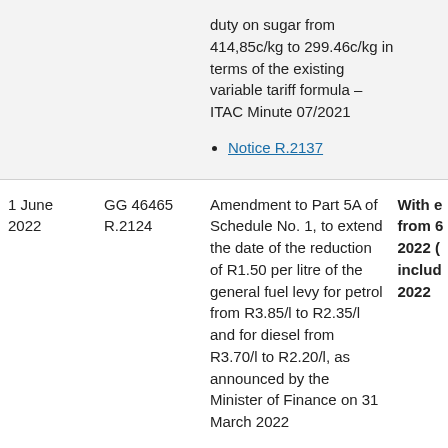duty on sugar from 414,85c/kg to 299.46c/kg in terms of the existing variable tariff formula – ITAC Minute 07/2021
Notice R.2137
1 June 2022
GG 46465 R.2124
Amendment to Part 5A of Schedule No. 1, to extend the date of the reduction of R1.50 per litre of the general fuel levy for petrol from R3.85/l to R2.35/l and for diesel from R3.70/l to R2.20/l, as announced by the Minister of Finance on 31 March 2022
With effect from 6 2022 (including) 2022
Notice R.2124